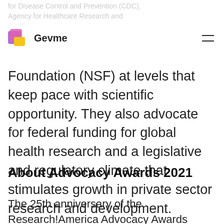Gevme
for Disease Control and Prevention (CDC), Agency for Healthcare Research and Quality (AHRQ), Food and Drug Administration (FDA) and National Science Foundation (NSF) at levels that keep pace with scientific opportunity. They also advocate for federal funding for global health research and a legislative and regulatory climate that stimulates growth in private sector research and development.
About Advocacy Awards 2021
The 25th anniversary of the Research!America Advocacy Awards